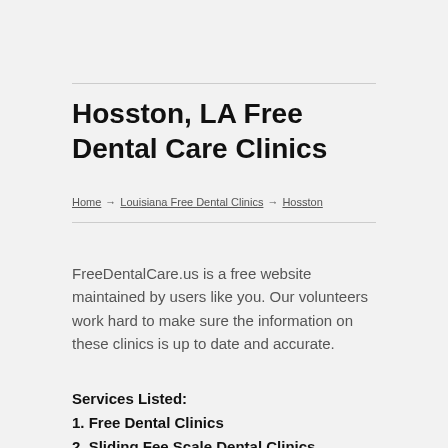Hosston, LA Free Dental Care Clinics
Home → Louisiana Free Dental Clinics → Hosston
FreeDentalCare.us is a free website maintained by users like you. Our volunteers work hard to make sure the information on these clinics is up to date and accurate.
Services Listed:
1. Free Dental Clinics
2. Sliding Fee Scale Dental Clinics